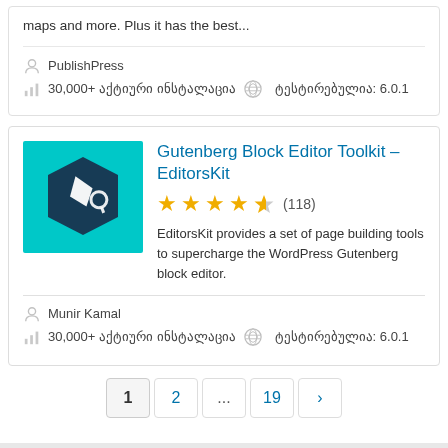maps and more. Plus it has the best...
PublishPress
30,000+ აქტიური ინსტალაცია  ტესტირებულია: 6.0.1
Gutenberg Block Editor Toolkit – EditorsKit
[Figure (logo): EditorsKit plugin logo: teal background with dark blue hexagon pen/tool icon]
★★★★½ (118)
EditorsKit provides a set of page building tools to supercharge the WordPress Gutenberg block editor.
Munir Kamal
30,000+ აქტიური ინსტალაცია  ტესტირებულია: 6.0.1
1
2
...
19
›